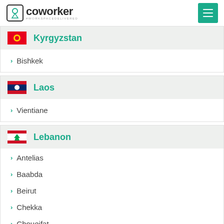coworker — #WORKSPACEDELIVERED
Kyrgyzstan
Bishkek
Laos
Vientiane
Lebanon
Antelias
Baabda
Beirut
Chekka
Choueifat